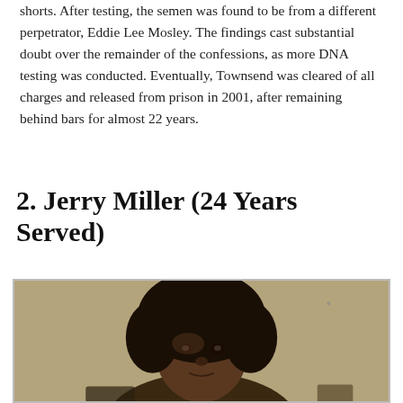shorts. After testing, the semen was found to be from a different perpetrator, Eddie Lee Mosley. The findings cast substantial doubt over the remainder of the confessions, as more DNA testing was conducted. Eventually, Townsend was cleared of all charges and released from prison in 2001, after remaining behind bars for almost 22 years.
2. Jerry Miller (24 Years Served)
[Figure (photo): Sepia-toned vintage photograph of a young Black man with an afro hairstyle, looking directly at the camera. The photo appears to be a booking or ID photo from the 1970s or 1980s.]